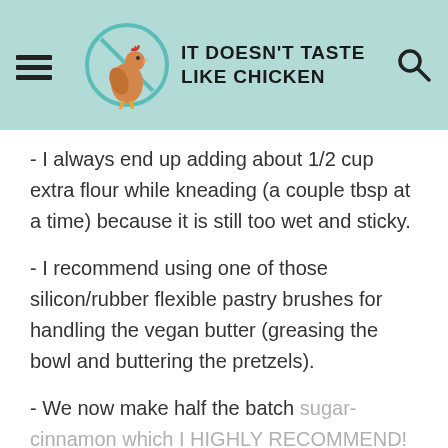IT DOESN'T TASTE LIKE CHICKEN
- I always end up adding about 1/2 cup extra flour while kneading (a couple tbsp at a time) because it is still too wet and sticky.
- I recommend using one of those silicon/rubber flexible pastry brushes for handling the vegan butter (greasing the bowl and buttering the pretzels).
- We now make half the batch sugar-cinnamon which I HIGHLY RECOMMEND! Dip it in the mix after